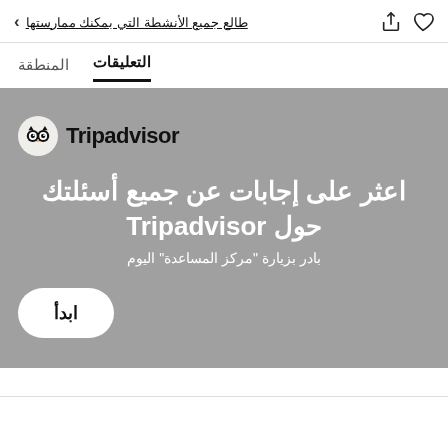طالع جميع الأنشطة التي بمكنك ممارستها
المنطقة  التعليقات
[Figure (screenshot): Tripadvisor promotional banner with owl logo, Arabic text: اعثر على إجابات عن جميع أسئلتك حول Tripadvisor, بادر بزيارة مركز المساعدة اليوم, and a start button labeled ابدأ]